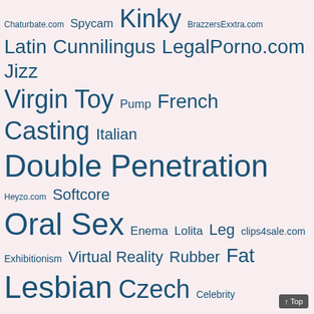[Figure (infographic): A tag cloud / word cloud on a light pink/white background featuring adult content category tags in various font sizes, colored in dark teal/blue. Larger words indicate higher frequency/importance. Words include: Chaturbate.com, Spycam, Kinky, BrazzersExxtra.com, Latin, Cunnilingus, LegalPorno.com, Jizz, Virgin, Toy, Pump, French, Casting, Italian, Double Penetration, Heyzo.com, Softcore, Oral Sex, Enema, Lolita, Leg, clips4sale.com, Exhibitionism, Virtual Reality, Rubber, Fat, Lesbian, Czech, Celebrity, Boobs, Brazilian, Bi, Gape, RealityKings.com, Tits, Creampie, Masturbation, Babes, BackroomCastingCouch.com, 2019, Pumping, HDRip, Amateur, fisting, Lesbians, Anal Sex, 2020, 4K, DAP, Facial, Pornhub.com, Marc Dorcel, VR, CherryPimps.com, 2010, Ultra HD, TOE, Vignettes, 2013, Twins, Panty, Smothering, Veronica, Leal, Stockings]